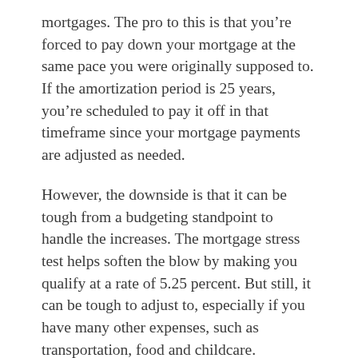mortgages. The pro to this is that you’re forced to pay down your mortgage at the same pace you were originally supposed to. If the amortization period is 25 years, you’re scheduled to pay it off in that timeframe since your mortgage payments are adjusted as needed.
However, the downside is that it can be tough from a budgeting standpoint to handle the increases. The mortgage stress test helps soften the blow by making you qualify at a rate of 5.25 percent. But still, it can be tough to adjust to, especially if you have many other expenses, such as transportation, food and childcare.